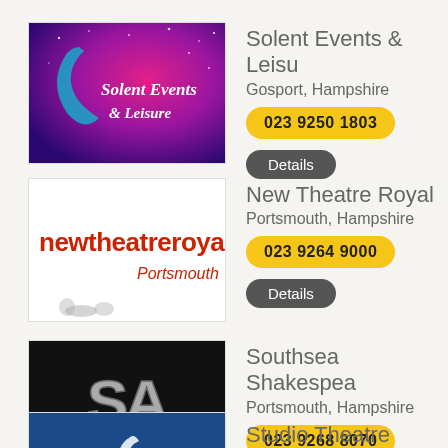[Figure (logo): Solent Events & Leisure logo — pink/purple starry background with moon and italic text]
Solent Events & Leisu
Gosport, Hampshire
023 9250 1803
Details
[Figure (logo): New Theatre Royal Portsmouth logo — white text on white background, red lowercase letters]
New Theatre Royal
Portsmouth, Hampshire
023 9264 9000
Details
[Figure (logo): Southsea Shakespeare Actors logo — black background with SA letters and company name]
Southsea Shakespea
Portsmouth, Hampshire
023 9268 8070
Details
[Figure (logo): Studio Theatre logo — blue background with bird/figure silhouette]
Studio Theatre